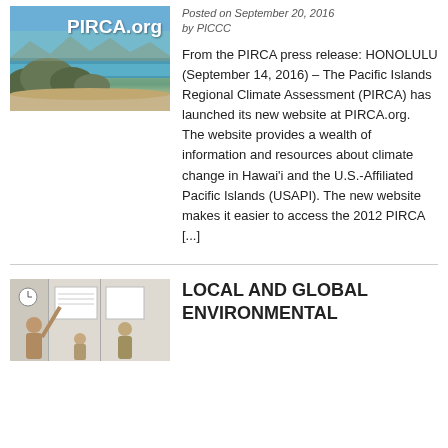[Figure (photo): Coastal Hawaii landscape photo with text overlay 'PIRCA.org']
Posted on September 20, 2016 by PICCC
From the PIRCA press release: HONOLULU (September 14, 2016) – The Pacific Islands Regional Climate Assessment (PIRCA) has launched its new website at PIRCA.org.  The website provides a wealth of information and resources about climate change in Hawai'i and the U.S.-Affiliated Pacific Islands (USAPI). The new website makes it easier to access the 2012 PIRCA [...]
[Figure (photo): People in a classroom or meeting room, presenter pointing at a board]
LOCAL AND GLOBAL ENVIRONMENTAL